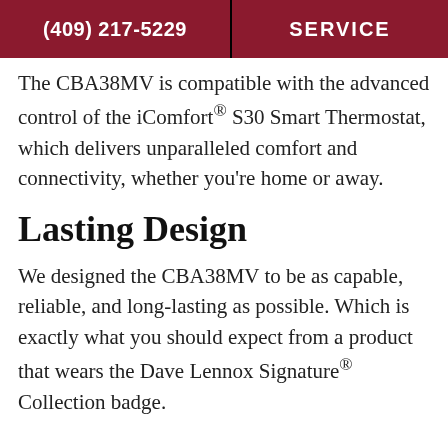(409) 217-5229   SERVICE
The CBA38MV is compatible with the advanced control of the iComfort® S30 Smart Thermostat, which delivers unparalleled comfort and connectivity, whether you're home or away.
Lasting Design
We designed the CBA38MV to be as capable, reliable, and long-lasting as possible. Which is exactly what you should expect from a product that wears the Dave Lennox Signature® Collection badge.